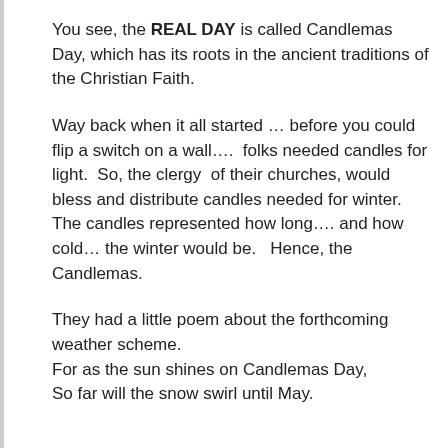You see, the REAL DAY is called Candlemas Day, which has its roots in the ancient traditions of the Christian Faith.
Way back when it all started … before you could flip a switch on a wall….  folks needed candles for light.  So, the clergy  of their churches, would bless and distribute candles needed for winter.  The candles represented how long…. and how cold… the winter would be.   Hence, the Candlemas.
They had a little poem about the forthcoming weather scheme.
For as the sun shines on Candlemas Day,
So far will the snow swirl until May.